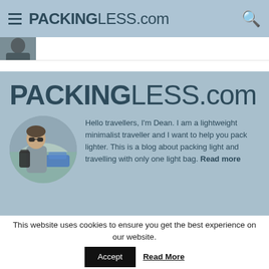PACKINGLESS.com
[Figure (photo): Small thumbnail image of a person, partially visible]
PACKINGLESS.com
[Figure (photo): Circular avatar photo of Dean, a young person wearing sunglasses and carrying a backpack, smiling outdoors]
Hello travellers, I'm Dean. I am a lightweight minimalist traveller and I want to help you pack lighter. This is a blog about packing light and travelling with only one light bag. Read more
This website uses cookies to ensure you get the best experience on our website. Accept Read More